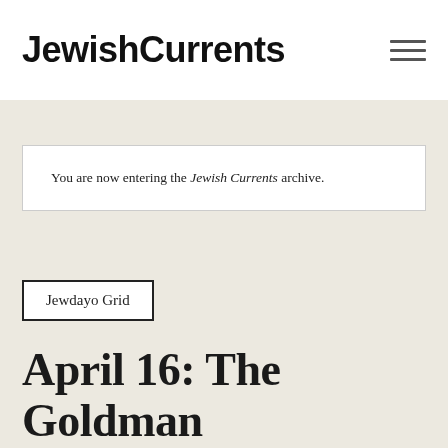Jewish Currents
You are now entering the Jewish Currents archive.
Jewdayo Grid
April 16: The Goldman Environmental Prize